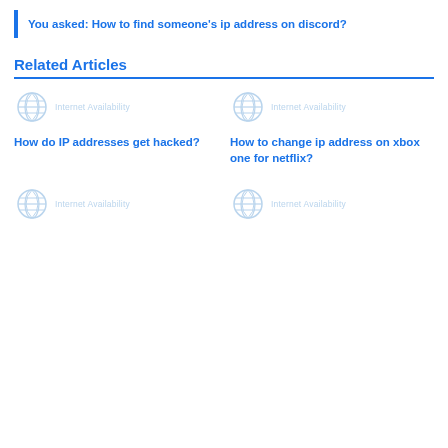You asked: How to find someone’s ip address on discord?
Related Articles
[Figure (illustration): Internet Availability placeholder logo with globe icon - top left card]
[Figure (illustration): Internet Availability placeholder logo with globe icon - top right card]
How do IP addresses get hacked?
How to change ip address on xbox one for netflix?
[Figure (illustration): Internet Availability placeholder logo with globe icon - bottom left card]
[Figure (illustration): Internet Availability placeholder logo with globe icon - bottom right card]